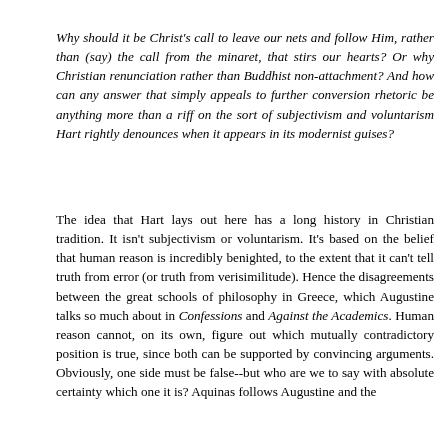Why should it be Christ's call to leave our nets and follow Him, rather than (say) the call from the minaret, that stirs our hearts? Or why Christian renunciation rather than Buddhist non-attachment? And how can any answer that simply appeals to further conversion rhetoric be anything more than a riff on the sort of subjectivism and voluntarism Hart rightly denounces when it appears in its modernist guises?
The idea that Hart lays out here has a long history in Christian tradition. It isn't subjectivism or voluntarism. It's based on the belief that human reason is incredibly benighted, to the extent that it can't tell truth from error (or truth from verisimilitude). Hence the disagreements between the great schools of philosophy in Greece, which Augustine talks so much about in Confessions and Against the Academics. Human reason cannot, on its own, figure out which mutually contradictory position is true, since both can be supported by convincing arguments. Obviously, one side must be false--but who are we to say with absolute certainty which one it is? Aquinas follows Augustine and the